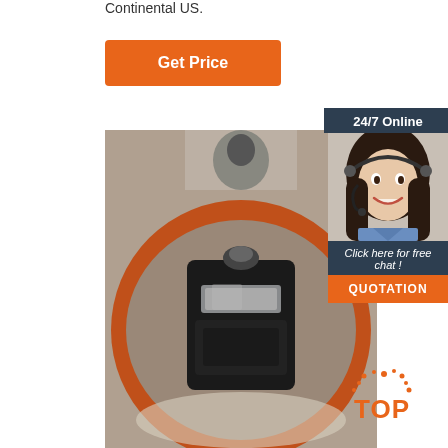Continental US.
Get Price
[Figure (photo): Close-up photo of a black metal mechanical part (appears to be a crankshaft or coupling) resting on a red/orange surface, viewed from above]
[Figure (infographic): Sidebar widget with dark navy background showing '24/7 Online' text, a woman wearing a headset smiling, 'Click here for free chat!' italic text, and an orange QUOTATION button]
[Figure (logo): Orange 'TOP' badge with decorative dots in lower right corner]